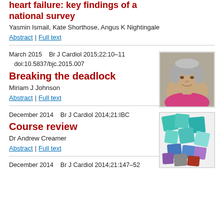heart failure: key findings of a national survey
Yasmin Ismail, Kate Shorthose, Angus K Nightingale
Abstract | Full text
March 2015    Br J Cardiol 2015;22:10–11
   doi:10.5837/bjc.2015.007
Breaking the deadlock
Miriam J Johnson
Abstract | Full text
[Figure (photo): Headshot of a woman with short grey hair, smiling, wearing a pink top]
December 2014    Br J Cardiol 2014;21:IBC
Course review
Dr Andrew Creamer
Abstract | Full text
[Figure (photo): Abstract geometric shapes in teal, blue, purple and red colours]
December 2014    Br J Cardiol 2014;21:147–52